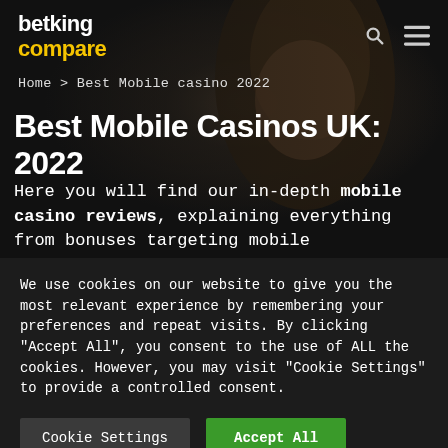[Figure (photo): Website screenshot showing a dark-themed mobile casino review page for BetKing Compare with a woman's face as hero background image]
betking compare
Home > Best Mobile casino 2022
Best Mobile Casinos UK: 2022
Here you will find our in-depth mobile casino reviews, explaining everything from bonuses targeting mobile specifically, daily free spins
We use cookies on our website to give you the most relevant experience by remembering your preferences and repeat visits. By clicking "Accept All", you consent to the use of ALL the cookies. However, you may visit "Cookie Settings" to provide a controlled consent.